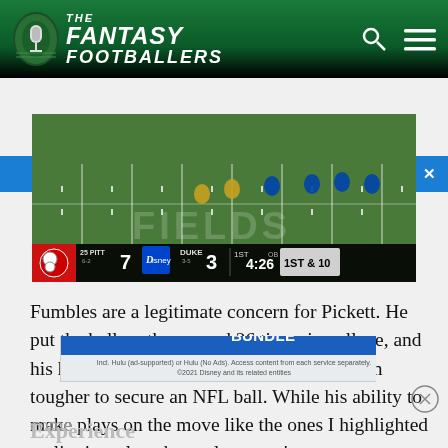The Fantasy Footballers
Last chance to join the Megalabowl!
[Figure (screenshot): Football game screenshot showing a college game between #25 Pitt (score 7) and Duke (score 3), 1st quarter, 4:26 remaining, 1st & 10. Scoreboard overlay at bottom.]
Fumbles are a legitimate concern for Pickett. He put the ball on the ground 26 times in college, and his historically small hands will make it even tougher to secure an NFL ball. While his ability to make plays on the move like the ones I highlighted earlier is a plus, those plays won't come
[Figure (screenshot): Disney Bundle advertisement: hulu, Disney+, ESPN+. GET THE DISNEY BUNDLE. Incl. Hulu (ad-supported) or Hulu (No Ads). Access content from each service separately. ©2021 Disney and its related entities]
Experience